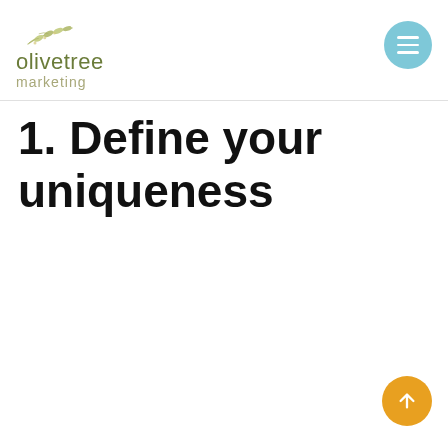olivetree marketing
1. Define your uniqueness